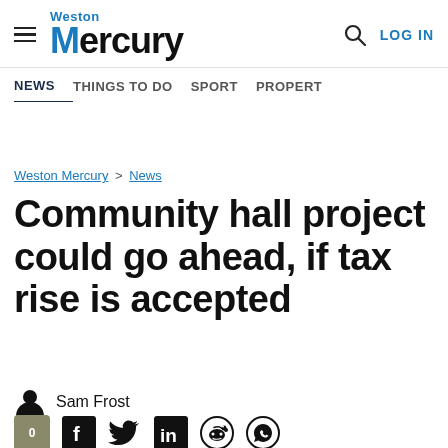Weston Mercury — NEWS | THINGS TO DO | SPORT | PROPERTY | LOG IN
Weston Mercury > News
Community hall project could go ahead, if tax rise is accepted
Sam Frost
0 comments, share on Facebook, Twitter, LinkedIn, Reddit, WhatsApp